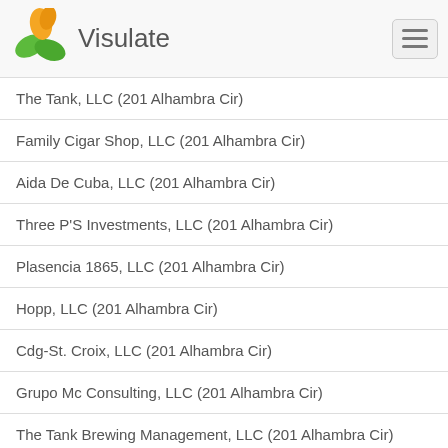Visulate
The Tank, LLC (201 Alhambra Cir)
Family Cigar Shop, LLC (201 Alhambra Cir)
Aida De Cuba, LLC (201 Alhambra Cir)
Three P'S Investments, LLC (201 Alhambra Cir)
Plasencia 1865, LLC (201 Alhambra Cir)
Hopp, LLC (201 Alhambra Cir)
Cdg-St. Croix, LLC (201 Alhambra Cir)
Grupo Mc Consulting, LLC (201 Alhambra Cir)
The Tank Brewing Management, LLC (201 Alhambra Cir)
Spectrum Investments Group, LLC (201 Alhambra Cir)